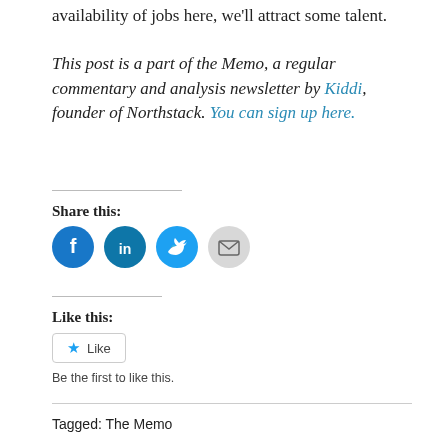availability of jobs here, we'll attract some talent.
This post is a part of the Memo, a regular commentary and analysis newsletter by Kiddi, founder of Northstack. You can sign up here.
Share this:
[Figure (other): Social share buttons: Facebook, LinkedIn, Twitter, Email]
Like this:
[Figure (other): Like button widget with star icon and text 'Like'. Below: 'Be the first to like this.']
Tagged: The Memo